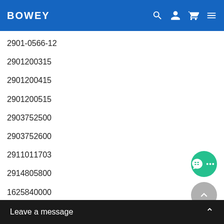BOWEY
2901-0566-12
2901200315
2901200415
2901200515
2903752500
2903752600
2911011703
2914805800
1625840000
1092900146
1622185501
1613 6105 00
1613740800
Leave a message